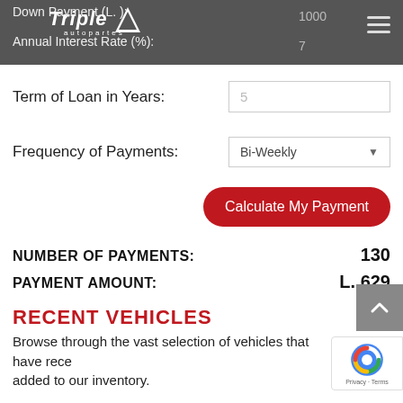Triple A autopartes
Down Payment (L. ): 1000
Annual Interest Rate (%): 7
Term of Loan in Years: 5
Frequency of Payments: Bi-Weekly
Calculate My Payment
NUMBER OF PAYMENTS: 130
PAYMENT AMOUNT: L. 629
RECENT VEHICLES
Browse through the vast selection of vehicles that have recently been added to our inventory.